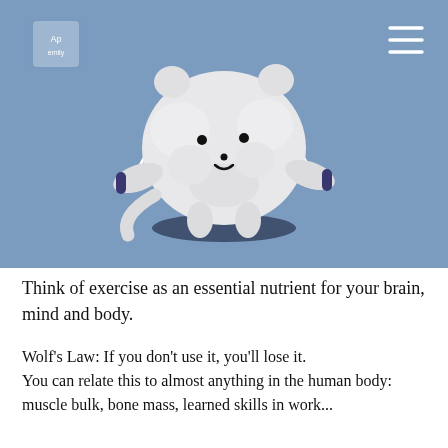[Figure (illustration): A cute white fluffy cartoon brain-like creature with bear ears, a tail, stubby legs and arms, jumping rope on a blue-grey background. The creature holds a jump rope handle in each hand, and there is a shadow beneath it shaped like an oval/fish. A small logo appears in the top-left corner and a hamburger menu icon in the top-right.]
Think of exercise as an essential nutrient for your brain, mind and body.
Wolf's Law: If you don't use it, you'll lose it.
You can relate this to almost anything in the human body: muscle bulk, bone mass, learned skills in work...